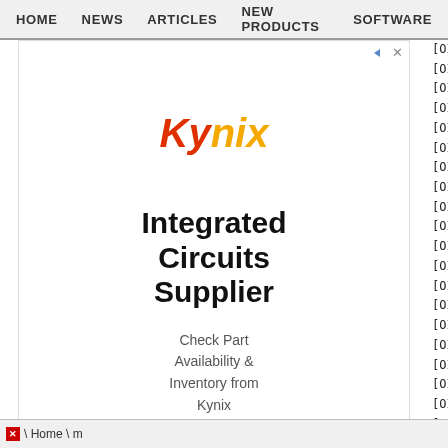HOME  NEWS  ARTICLES  NEW PRODUCTS  SOFTWARE
[Figure (illustration): Kynix advertisement: Kynix logo in red/orange italic font, 'Integrated Circuits Supplier' heading, 'Check Part Availability & Inventory from Kynix' subtext]
[OID] enterprises.664.2.147.2.21
[OID] enterprises.664.2.147.2.22
[OID] enterprises.664.2.147.3
[OID] enterprises.664.2.147.3.1
[OID] enterprises.664.2.147.3.2
[OID] enterprises.664.2.147.3.3
[OID] enterprises.664.2.147.3.4
[OID] enterprises.664.2.147.3.5
[OID] enterprises.664.2.147.3.6
[OID] enterprises.664.2.147.3.7
[OID] enterprises.664.2.147.3.8
[OID] enterprises.664.2.147.3.9
[OID] enterprises.664.2.147.3.10
[OID] enterprises.664.2.147.3.11
[OID] enterprises.664.2.147.4
[OID] enterprises.664.2.147.4.1
[OID] enterprises.664.2.147.4.1.1
[OID] enterprises.664.2.147.4.1.1.
[OID] enterprises.664.2.147.4.1.1.
[OID] enterprises.664.2.147.4.1.1.
[OID] enterprises.664.2.147.4.1.1.
[OID] enterprises.664.2.147.4.1.1.
[OID] enterprises.664.2.147.4.1.1.
[OID] enterprises.664.2.147.5
[OID] enterprises.664.2.147.5.1
Home \ m